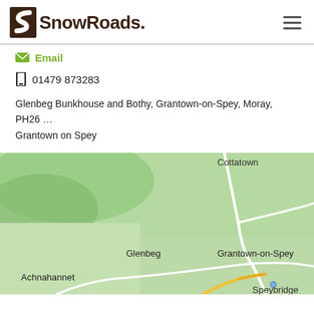SnowRoads.
Email
01479 873283
Glenbeg Bunkhouse and Bothy, Grantown-on-Spey, Moray, PH26 ... Grantown on Spey
[Figure (map): Map showing the area around Grantown-on-Spey, with locations labeled: Cottatown (top right), Glenbeg (center), Grantown-on-Spey (center right), Achnahannet (bottom left), and Speybridge (bottom right). Roads shown in white and yellow on a green background representing terrain.]